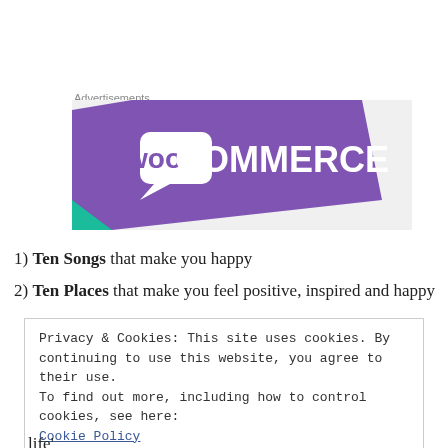Advertisements
[Figure (logo): WooCommerce logo on purple diagonal banner with light grey background and teal accent]
1) Ten Songs that make you happy
2) Ten Places that make you feel positive, inspired and happy
Privacy & Cookies: This site uses cookies. By continuing to use this website, you agree to their use.
To find out more, including how to control cookies, see here: Cookie Policy
Close and accept
life'